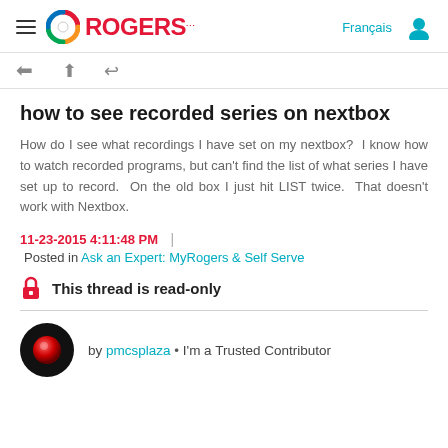Rogers — Français
[Figure (screenshot): Partial icons bar (back, share, etc.)]
how to see recorded series on nextbox
How do I see what recordings I have set on my nextbox?  I know how to watch recorded programs, but can't find the list of what series I have set up to record.  On the old box I just hit LIST twice.  That doesn't work with Nextbox.
11-23-2015 4:11:48 PM  |  Posted in Ask an Expert: MyRogers & Self Serve
This thread is read-only
by pmcsplaza • I'm a Trusted Contributor